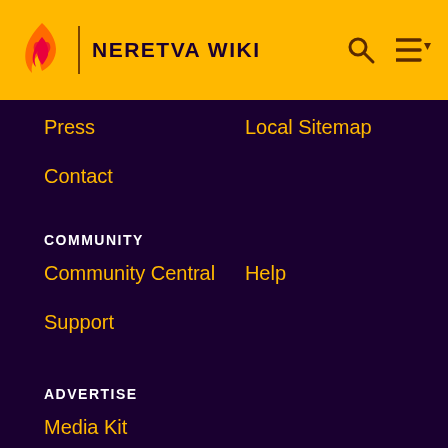NERETVA WIKI
Press
Local Sitemap
Contact
COMMUNITY
Community Central
Help
Support
ADVERTISE
Media Kit
Fandomatic
Contact